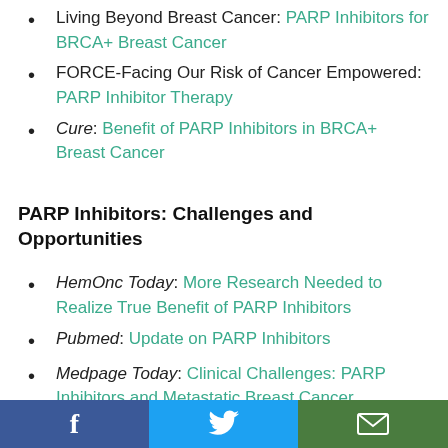Living Beyond Breast Cancer: PARP Inhibitors for BRCA+ Breast Cancer
FORCE-Facing Our Risk of Cancer Empowered: PARP Inhibitor Therapy
Cure: Benefit of PARP Inhibitors in BRCA+ Breast Cancer
PARP Inhibitors: Challenges and Opportunities
HemOnc Today: More Research Needed to Realize True Benefit of PARP Inhibitors
Pubmed: Update on PARP Inhibitors
Medpage Today: Clinical Challenges: PARP Inhibitors and Metastatic Breast Cancer
f  [Twitter bird icon]  [Email icon]